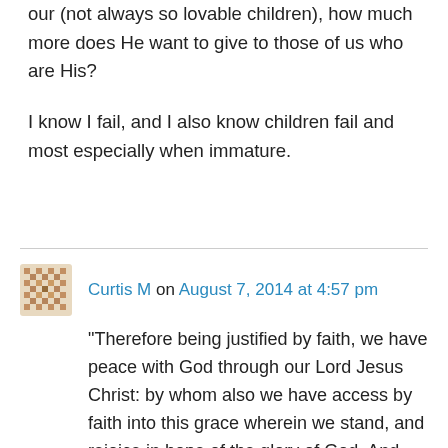our (not always so lovable children), how much more does He want to give to those of us who are His?
I know I fail, and I also know children fail and most especially when immature.
Curtis M on August 7, 2014 at 4:57 pm
“Therefore being justified by faith, we have peace with God through our Lord Jesus Christ: by whom also we have access by faith into this grace wherein we stand, and rejoice in hope of the glory of God. And not only so, but we glory in tribulations also: knowing that tribulation worketh patience; and patience, experience; and experience, hope; and hope maketh not…